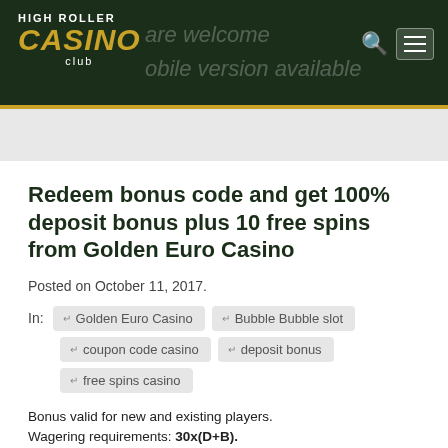HIGH ROLLER CASINO club
Redeem bonus code and get 100% deposit bonus plus 10 free spins from Golden Euro Casino
Posted on October 11, 2017.
In: Golden Euro Casino  Bubble Bubble slot  coupon code casino  deposit bonus  free spins casino
Bonus valid for new and existing players.
Wagering requirements: 30x(D+B).
Max cash out: No Max.